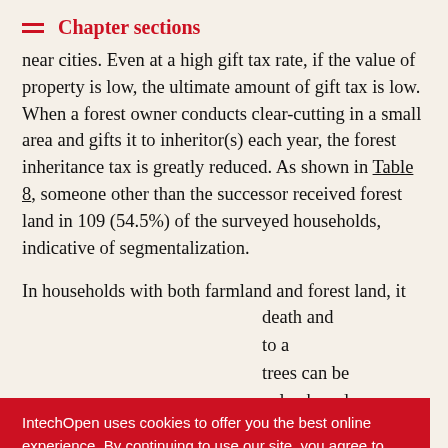Chapter sections
near cities. Even at a high gift tax rate, if the value of property is low, the ultimate amount of gift tax is low. When a forest owner conducts clear-cutting in a small area and gifts it to inheritor(s) each year, the forest inheritance tax is greatly reduced. As shown in Table 8, someone other than the successor received forest land in 109 (54.5%) of the surveyed households, indicative of segmentalization.
In households with both farmland and forest land, it ... death and ... to a ... trees can be ... value broad- ... ath to reduce ... ne inheritor, there is another explanation of why clear-cutting
IntechOpen uses cookies to offer you the best online experience. By continuing to use our site, you agree to our Privacy Policy
Got it!